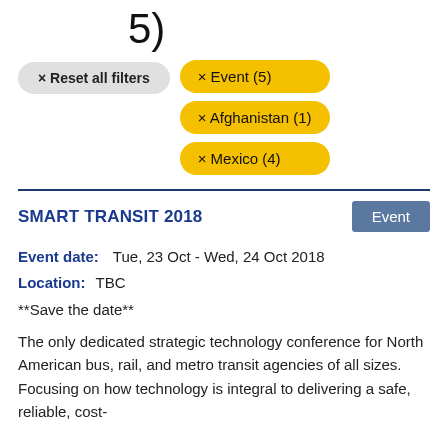5)
× Reset all filters
× Event (5)
× Afghanistan (1)
× Mexico (4)
SMART TRANSIT 2018
Event
Event date:   Tue, 23 Oct - Wed, 24 Oct 2018
Location:   TBC
**Save the date**
The only dedicated strategic technology conference for North American bus, rail, and metro transit agencies of all sizes. Focusing on how technology is integral to delivering a safe, reliable, cost-